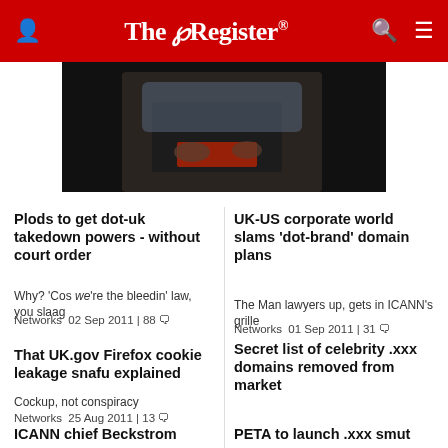The Register
[Figure (photo): Person typing on a laptop in a dark setting, wearing a denim jacket, with a red glow visible on the screen.]
Plods to get dot-uk takedown powers - without court order
Why? 'Cos we're the bleedin' law, you slaag
Networks  02 Sep 2011 | 88 💬
UK-US corporate world slams 'dot-brand' domain plans
The Man lawyers up, gets in ICANN's grille
Networks  01 Sep 2011 | 31 💬
That UK.gov Firefox cookie leakage snafu explained
Cockup, not conspiracy
Networks  25 Aug 2011 | 13 💬
Secret list of celebrity .xxx domains removed from market
Michelle Obama safe, Samantha Cameron must use protection
Networks  24 Aug 2011 | 26 💬
ICANN chief Beckstrom
PETA to launch .xxx smut